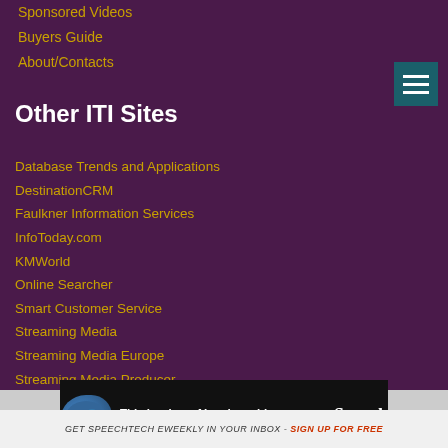Sponsored Videos
Buyers Guide
About/Contacts
Other ITI Sites
Database Trends and Applications
DestinationCRM
Faulkner Information Services
InfoToday.com
KMWorld
Online Searcher
Smart Customer Service
Streaming Media
Streaming Media Europe
Streaming Media Producer
Unisphere Research
[Figure (infographic): Advertisement banner: dark background with brain image, text 'This is where AI and machine learning come alive!' and Speech Technology magazine logo]
GET SPEECHTECH EWEEKLY IN YOUR INBOX - SIGN UP FOR FREE